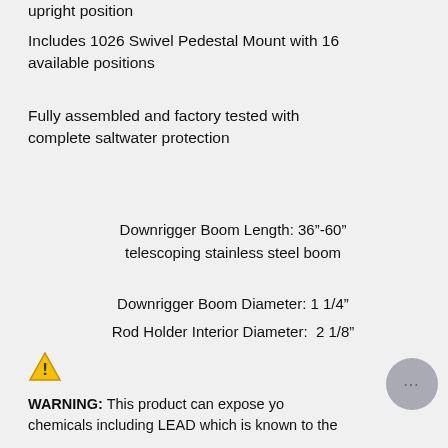upright position
Includes 1026 Swivel Pedestal Mount with 16 available positions
Fully assembled and factory tested with complete saltwater protection
Downrigger Boom Length: 36"-60" telescoping stainless steel boom
Downrigger Boom Diameter: 1 1/4"
Rod Holder Interior Diameter:  2 1/8"
⚠ WARNING: This product can expose you to chemicals including LEAD which is known to the